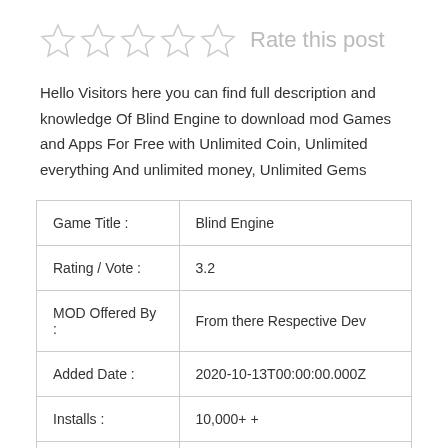[Figure (other): Five empty star rating icons followed by 'Rate this post' text]
Hello Visitors here you can find full description and knowledge Of Blind Engine to download mod Games and Apps For Free with Unlimited Coin, Unlimited everything And unlimited money, Unlimited Gems
| Game Title : | Blind Engine |
| Rating / Vote : | 3.2 |
| MOD Offered By : | From there Respective Dev |
| Added Date : | 2020-10-13T00:00:00.000Z |
| Installs : | 10,000+ + |
| Category : | House & Home |